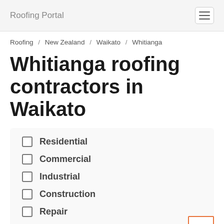Roofing Portal
Roofing / New Zealand / Waikato / Whitianga
Whitianga roofing contractors in Waikato
Residential
Commercial
Industrial
Construction
Repair
Replacement